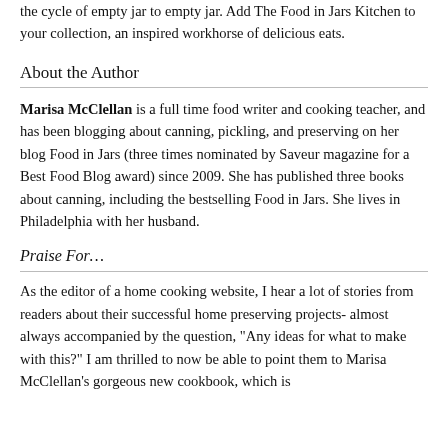the cycle of empty jar to empty jar. Add The Food in Jars Kitchen to your collection, an inspired workhorse of delicious eats.
About the Author
Marisa McClellan is a full time food writer and cooking teacher, and has been blogging about canning, pickling, and preserving on her blog Food in Jars (three times nominated by Saveur magazine for a Best Food Blog award) since 2009. She has published three books about canning, including the bestselling Food in Jars. She lives in Philadelphia with her husband.
Praise For…
As the editor of a home cooking website, I hear a lot of stories from readers about their successful home preserving projects- almost always accompanied by the question, 'Any ideas for what to make with this?' I am thrilled to now be able to point them to Marisa McClellan's gorgeous new cookbook, which is